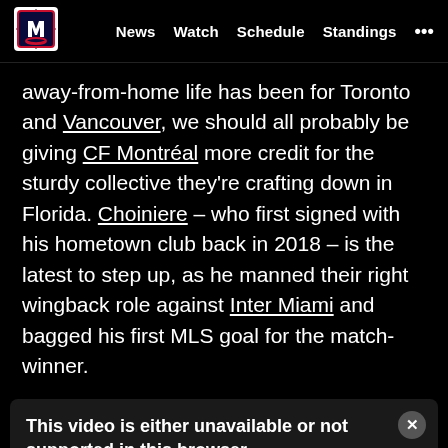MLS | News | Watch | Schedule | Standings | ...
away-from-home life has been for Toronto and Vancouver, we should all probably be giving CF Montréal more credit for the sturdy collective they're crafting down in Florida. Choiniere – who first signed with his hometown club back in 2018 – is the latest to step up, as he manned their right wingback role against Inter Miami and bagged his first MLS goal for the match-winner.
[Figure (screenshot): Video player error message box: 'This video is either unavailable or not supported in this browser. Error Code: MEDIA_ERR_SRC_NOT_SUPPORTED. Session ID: 2022-08-19:3932f20df42cd6a1d7a91634 Player Element ID: mls-o-video-player__instance-5530036774001-6262246491001']